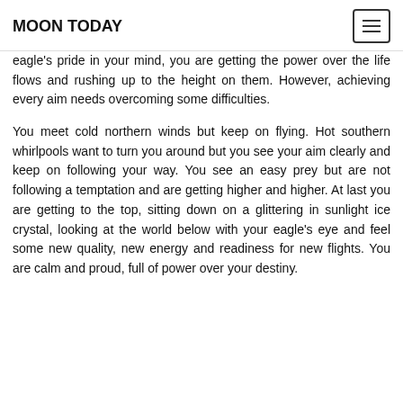MOON TODAY
eagle’s pride in your mind, you are getting the power over the life flows and rushing up to the height on them. However, achieving every aim needs overcoming some difficulties.

You meet cold northern winds but keep on flying. Hot southern whirlpools want to turn you around but you see your aim clearly and keep on following your way. You see an easy prey but are not following a temptation and are getting higher and higher. At last you are getting to the top, sitting down on a glittering in sunlight ice crystal, looking at the world below with your eagle’s eye and feel some new quality, new energy and readiness for new flights. You are calm and proud, full of power over your destiny.